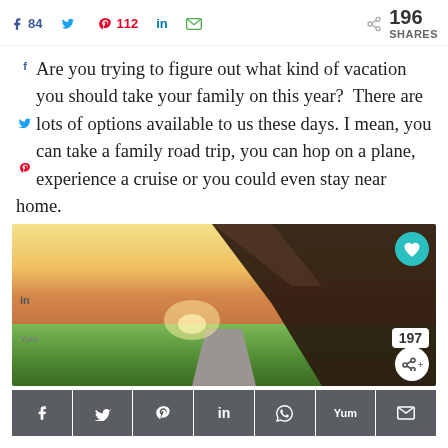f 84  [twitter]  P 112  in  [email]  196 SHARES
Are you trying to figure out what kind of vacation you should take your family on this year?  There are lots of options available to us these days. I mean, you can take a family road trip, you can hop on a plane, experience a cruise or you could even stay near home.
[Figure (photo): Road trip photo taken from inside a car, showing the car roof/door frame in the foreground, a road stretching into the distance with green fields on either side under a warm golden sunset sky. Overlay buttons show a teal heart icon, share count 197, and a share button.]
f  [twitter]  P  in  [whatsapp]  Yum  [email] — bottom share bar